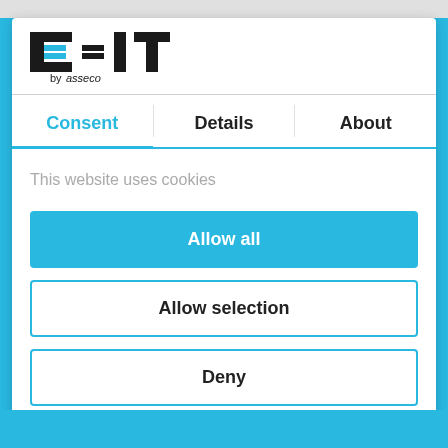[Figure (logo): CEIT by asseco logo - black geometric CEIT letters with blue horizontal bars, 'by asseco' in small text below]
Consent | Details | About
This website uses cookies
Allow all
Allow selection
Deny
Powered by Cookiebot by Usercentrics